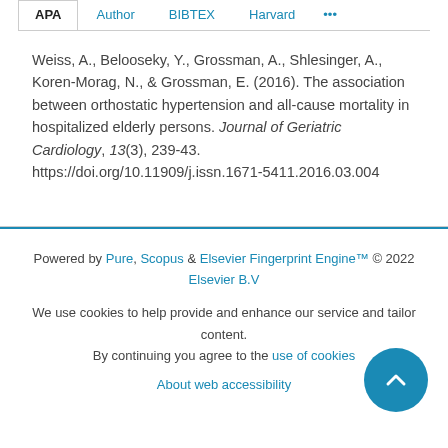APA | Author | BIBTEX | Harvard | ...
Weiss, A., Belooseky, Y., Grossman, A., Shlesinger, A., Koren-Morag, N., & Grossman, E. (2016). The association between orthostatic hypertension and all-cause mortality in hospitalized elderly persons. Journal of Geriatric Cardiology, 13(3), 239-43. https://doi.org/10.11909/j.issn.1671-5411.2016.03.004
Powered by Pure, Scopus & Elsevier Fingerprint Engine™ © 2022 Elsevier B.V
We use cookies to help provide and enhance our service and tailor content. By continuing you agree to the use of cookies
About web accessibility